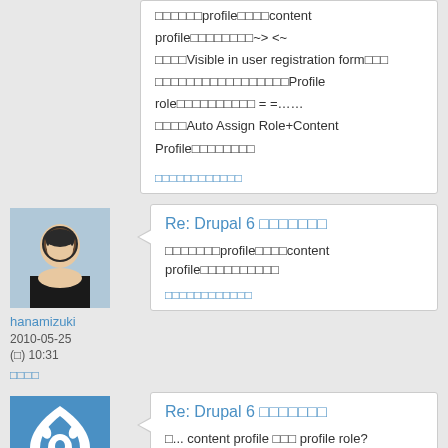□□□□□□profile□□□□content profile□□□□□□□□~> <~
□□□□Visible in user registration form□□□
□□□□□□□□□□□□□□□□□Profile role□□□□□□□□□□ = =……
□□□□Auto Assign Role+Content Profile□□□□□□□□
□□□□□□□□□□□□
Re: Drupal 6 □□□□□□□
hanamizuki
2010-05-25 (□) 10:31
□□□□
□□□□□□□profile□□□□content profile□□□□□□□□□□
□□□□□□□□□□□□
Re: Drupal 6 □□□□□□□
robber
2010-05-25 (□) 14:52
□□□□
□... content profile □□□ profile role?
□□□□,□□□□□□~
□□□□□□□□□□□□